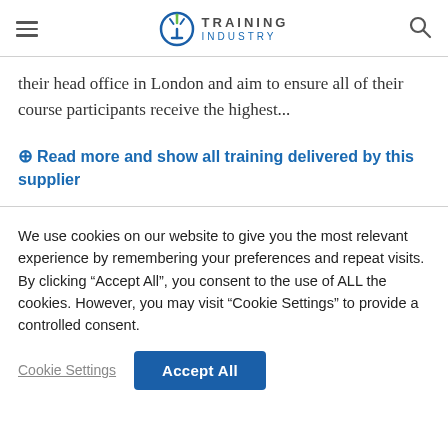Training Industry
their head office in London and aim to ensure all of their course participants receive the highest...
⊕ Read more and show all training delivered by this supplier
We use cookies on our website to give you the most relevant experience by remembering your preferences and repeat visits. By clicking “Accept All”, you consent to the use of ALL the cookies. However, you may visit “Cookie Settings” to provide a controlled consent.
Cookie Settings | Accept All